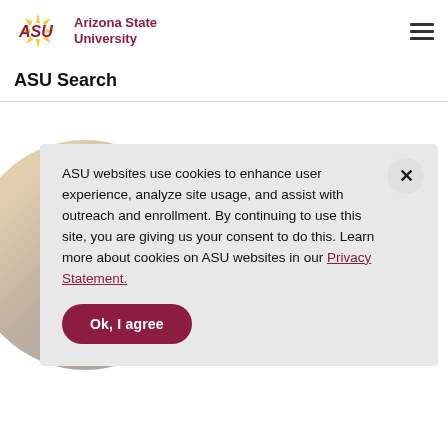ASU Arizona State University
ASU Search
[Figure (photo): Circular cropped photo of a student working on a laptop, partially visible in background behind cookie consent modal]
ASU websites use cookies to enhance user experience, analyze site usage, and assist with outreach and enrollment. By continuing to use this site, you are giving us your consent to do this. Learn more about cookies on ASU websites in our Privacy Statement.
Ok, I agree